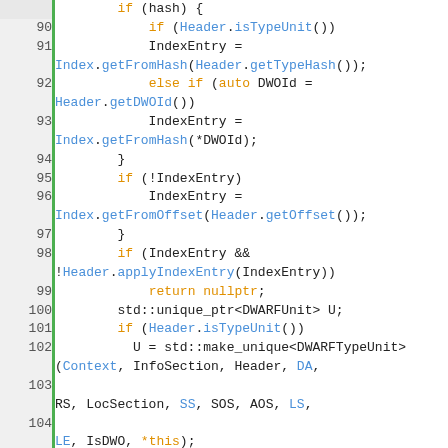[Figure (screenshot): Source code listing in C++ showing lines 90-112 of a DWARF debug info parsing function, with syntax highlighting. Keywords (if, else, return) in orange, identifiers (Index, Header, Context, etc.) in blue, plain code in black, on a white background with gray line number gutter and green border.]